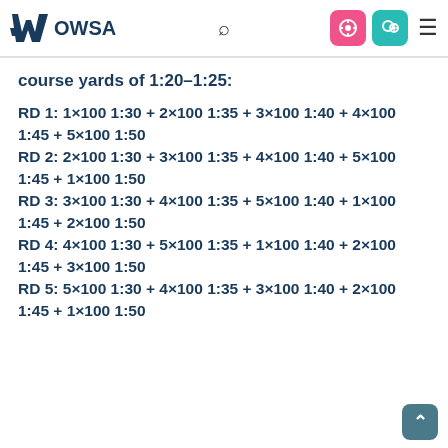Wowsa [logo] [search] [icons] [menu]
course yards of 1:20-1:25:
RD 1: 1×100 1:30 + 2×100 1:35 + 3×100 1:40 + 4×100 1:45 + 5×100 1:50
RD 2: 2×100 1:30 + 3×100 1:35 + 4×100 1:40 + 5×100 1:45 + 1×100 1:50
RD 3: 3×100 1:30 + 4×100 1:35 + 5×100 1:40 + 1×100 1:45 + 2×100 1:50
RD 4: 4×100 1:30 + 5×100 1:35 + 1×100 1:40 + 2×100 1:45 + 3×100 1:50
RD 5: 5×100 1:30 + 4×100 1:35 + 3×100 1:40 + 2×100 1:45 + 1×100 1:50